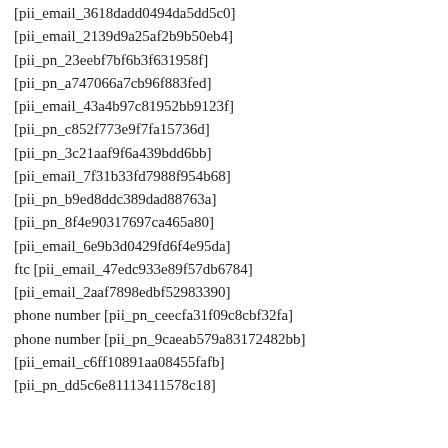[pii_email_3618dadd0494da5dd5c0]
[pii_email_2139d9a25af2b9b50eb4]
[pii_pn_23eebf7bf6b3f631958f]
[pii_pn_a747066a7cb96f883fed]
[pii_email_43a4b97c81952bb9123f]
[pii_pn_c852f773e9f7fa15736d]
[pii_pn_3c21aaf9f6a439bdd6bb]
[pii_email_7f31b33fd7988f954b68]
[pii_pn_b9ed8ddc389dad88763a]
[pii_pn_8f4e90317697ca465a80]
[pii_email_6e9b3d0429fd6f4e95da]
ftc [pii_email_47edc933e89f57db6784]
[pii_email_2aaf7898edbf52983390]
phone number [pii_pn_ceecfa31f09c8cbf32fa]
phone number [pii_pn_9caeab579a83172482bb]
[pii_email_c6ff10891aa08455fafb]
[pii_pn_dd5c6e81113411578c18]